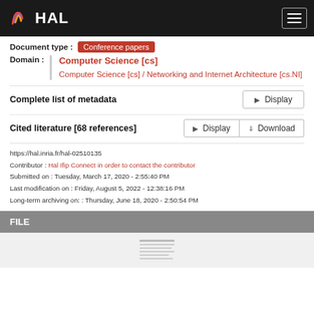HAL
Document type : Conference papers
Domain : Computer Science [cs] / Computer Science [cs] / Networking and Internet Architecture [cs.NI]
Complete list of metadata  Display
Cited literature [68 references]  Display  Download
https://hal.inria.fr/hal-02510135
Contributor : Hal Ifip Connect in order to contact the contributor
Submitted on : Tuesday, March 17, 2020 - 2:55:40 PM
Last modification on : Friday, August 5, 2022 - 12:38:16 PM
Long-term archiving on: : Thursday, June 18, 2020 - 2:50:54 PM
FILE